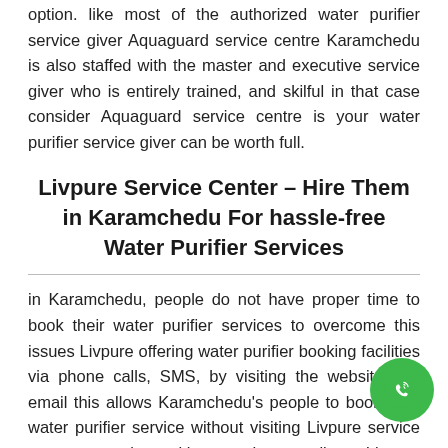option. like most of the authorized water purifier service giver Aquaguard service centre Karamchedu is also staffed with the master and executive service giver who is entirely trained, and skilful in that case consider Aquaguard service centre is your water purifier service giver can be worth full.
Livpure Service Center - Hire Them in Karamchedu For hassle-free Water Purifier Services
in Karamchedu, people do not have proper time to book their water purifier services to overcome this issues Livpure offering water purifier booking facilities via phone calls, SMS, by visiting the website and email this allows Karamchedu's people to book their water purifier service without visiting Livpure service centre via making a phone call at Livpure customer care number. Karamchedu. although all the Livpure